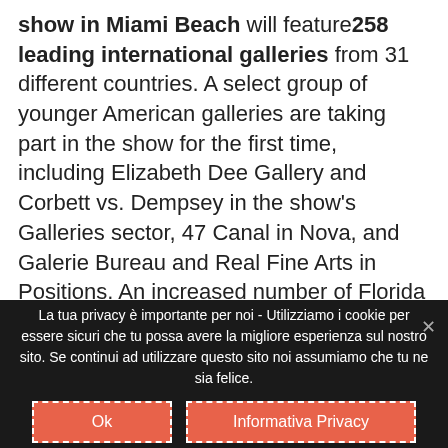show in Miami Beach will feature 258 leading international galleries from 31 different countries. A select group of younger American galleries are taking part in the show for the first time, including Elizabeth Dee Gallery and Corbett vs. Dempsey in the show's Galleries sector, 47 Canal in Nova, and Galerie Bureau and Real Fine Arts in Positions. An increased number of Florida based galleries will be exhibiting. Reflecting the international show's growing link to Asia, new galleries from the region include Tang Contemporary Art and One and J. Gallery both in Positions, and Singapore Tyler Print Institute in Edition.The focus of the show remains the Galleries
La tua privacy è importante per noi - Utilizziamo i cookie per essere sicuri che tu possa avere la migliore esperienza sul nostro sito. Se continui ad utilizzare questo sito noi assumiamo che tu ne sia felice.